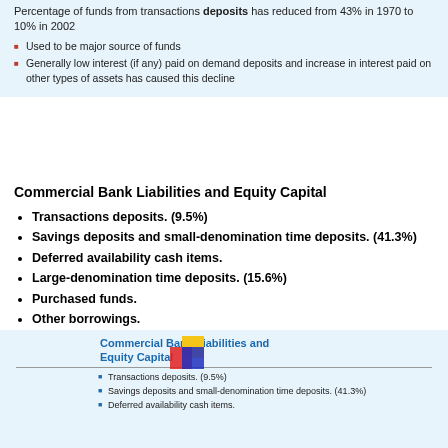Percentage of funds from transactions deposits has reduced from 43% in 1970 to 10% in 2002
Used to be major source of funds
Generally low interest (if any) paid on demand deposits and increase in interest paid on other types of assets has caused this decline
Commercial Bank Liabilities and Equity Capital
Transactions deposits. (9.5%)
Savings deposits and small-denomination time deposits. (41.3%)
Deferred availability cash items.
Large-denomination time deposits. (15.6%)
Purchased funds.
Other borrowings.
[Figure (other): Slide preview showing Commercial Bank Liabilities and Equity Capital with logo and bullet list]
Transactions deposits. (9.5%)
Savings deposits and small-denomination time deposits. (41.3%)
Deferred availability cash items.